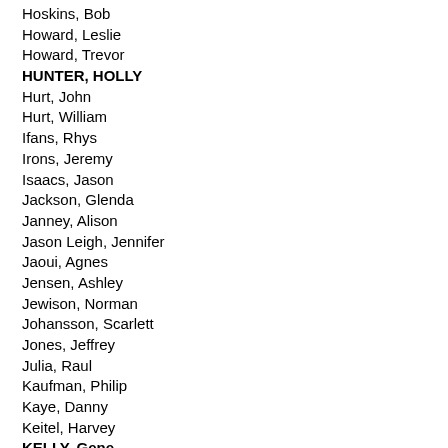Hoskins, Bob
Howard, Leslie
Howard, Trevor
HUNTER, HOLLY
Hurt, John
Hurt, William
Ifans, Rhys
Irons, Jeremy
Isaacs, Jason
Jackson, Glenda
Janney, Alison
Jason Leigh, Jennifer
Jaoui, Agnes
Jensen, Ashley
Jewison, Norman
Johansson, Scarlett
Jones, Jeffrey
Julia, Raul
Kaufman, Philip
Kaye, Danny
Keitel, Harvey
KELLY, Gene
Kelly, Moira
Khamatova, Chulpan
Kieslowski, Krzysztof
Kinski, Nastassia